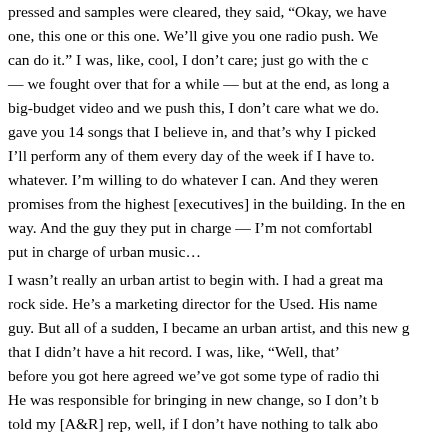pressed and samples were cleared, they said, “Okay, we have one, this one or this one. We’ll give you one radio push. We can do it.” I was, like, cool, I don’t care; just go with the — we fought over that for a while — but at the end, as long as big-budget video and we push this, I don’t care what we do. gave you 14 songs that I believe in, and that’s why I picked I’ll perform any of them every day of the week if I have to. whatever. I’m willing to do whatever I can. And they weren promises from the highest [executives] in the building. In the en way. And the guy they put in charge — I’m not comfortable put in charge of urban music…
I wasn’t really an urban artist to begin with. I had a great ma rock side. He’s a marketing director for the Used. His name guy. But all of a sudden, I became an urban artist, and this new that I didn’t have a hit record. I was, like, “Well, that’ before you got here agreed we’ve got some type of radio thi He was responsible for bringing in new change, so I don’t b told my [A&R] rep, well, if I don’t have nothing to talk abo